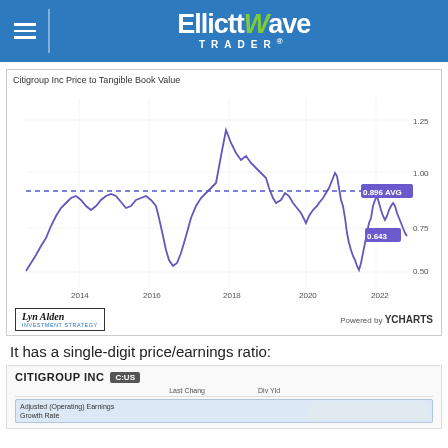Elliott Wave Trader
Citigroup Inc Price to Tangible Book Value
[Figure (continuous-plot): Line chart showing Citigroup Inc Price to Tangible Book Value from approximately 2013 to 2022. The line fluctuates between roughly 0.50 and 1.35. A dashed horizontal line marks the average at 0.896 AVG. The current value is labeled 0.643. The series peaks around 2018 at ~1.35 and drops sharply in 2020, then partially recovers before declining again.]
It has a single-digit price/earnings ratio:
[Figure (table-as-image): Partial screenshot of a financial data table for CITIGROUP INC (C:US), showing Adjusted (Operating) Earnings Growth Rate with columns for Last Chang and Div Yld]